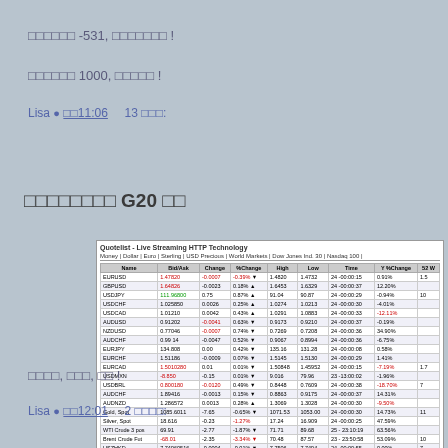□□□□□□ -531, □□□□□□□ !
□□□□□□ 1000, □□□□□ !
Lisa □ □□11:06    13 □□□:
□□□□□□□□ G20 □□
[Figure (screenshot): Quotelist - Live Streaming HTTP Technology showing a financial data table with currency pairs and market data including EURUSD, GBPUSD, USDJPY, and other instruments with bid/ask, change, %change, high, low, time, and Y%Change columns]
□□□□, □□□, □□ !
Lisa □ □□12:01    2 □□□□: